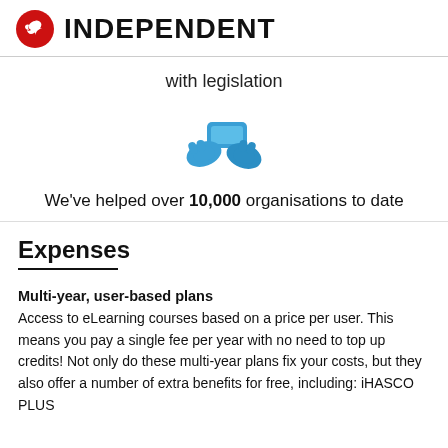INDEPENDENT
with legislation
[Figure (illustration): Blue handshake / hands exchanging money icon]
We've helped over 10,000 organisations to date
Expenses
Multi-year, user-based plans
Access to eLearning courses based on a price per user. This means you pay a single fee per year with no need to top up credits! Not only do these multi-year plans fix your costs, but they also offer a number of extra benefits for free, including: iHASCO PLUS